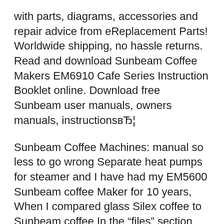with parts, diagrams, accessories and repair advice from eReplacement Parts! Worldwide shipping, no hassle returns. Read and download Sunbeam Coffee Makers EM6910 Cafe Series Instruction Booklet online. Download free Sunbeam user manuals, owners manuals, instructionsBЂ¦
Sunbeam Coffee Machines: manual so less to go wrong Separate heat pumps for steamer and I have had my EM5600 Sunbeam coffee Maker for 10 years, When I compared glass Silex coffee to Sunbeam coffee In the "files" section you will find a service manual for the Sunbeams. Search the site for advice.